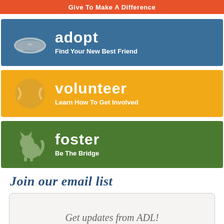Give To Make A Difference
[Figure (infographic): Blue banner with dog bowl icon, title ADOPT and subtitle Find Your New Best Friend]
[Figure (infographic): Yellow banner with tennis ball icon, title VOLUNTEER and subtitle Learn How To Get Involved]
[Figure (infographic): Green banner with cat icon, title FOSTER and subtitle Be The Bridge]
Join our email list
Get updates from ADL!